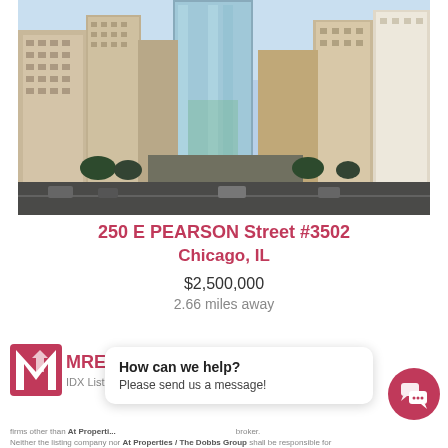[Figure (photo): Aerial/street-level photograph of Chicago high-rise buildings at 250 E Pearson Street, showing multiple skyscrapers against a blue sky with trees and street below.]
250 E PEARSON Street #3502
Chicago, IL
$2,500,000
2.66 miles away
[Figure (logo): MRED IDX Listing logo]
How can we help? Please send us a message!
firms other than At Properti... brokerage. Neither the listing company nor At Properties / The Dobbs Group shall be responsible for